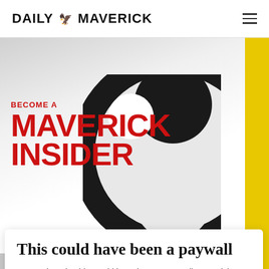DAILY MAVERICK
[Figure (illustration): Become a Maverick Insider promotional banner with large red text on grey/white gradient background with a large black spiral/yin-yang graphic on the right]
This could have been a paywall
On another site this would have been a paywall. Maverick Insider keeps our content free for all.
Become an Insider